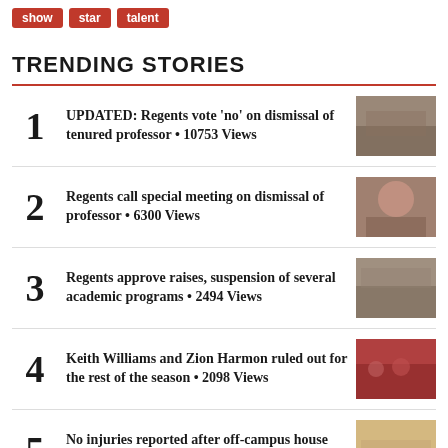show
star
talent
TRENDING STORIES
UPDATED: Regents vote 'no' on dismissal of tenured professor • 10753 Views
Regents call special meeting on dismissal of professor • 6300 Views
Regents approve raises, suspension of several academic programs • 2494 Views
Keith Williams and Zion Harmon ruled out for the rest of the season • 2098 Views
No injuries reported after off-campus house floor collapse • 1868 Views